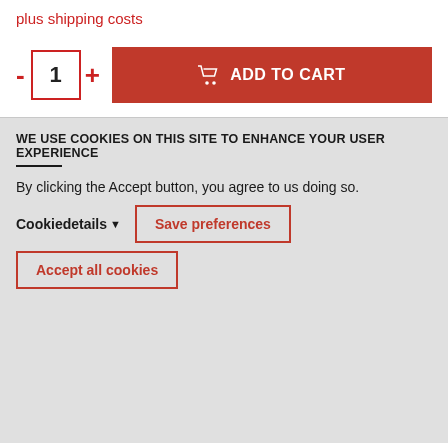plus shipping costs
[Figure (screenshot): Quantity selector with minus button, input box showing 1, plus button, and red Add to Cart button with cart icon]
WE USE COOKIES ON THIS SITE TO ENHANCE YOUR USER EXPERIENCE
By clicking the Accept button, you agree to us doing so.
Cookiedetails ▼
Save preferences
Accept all cookies